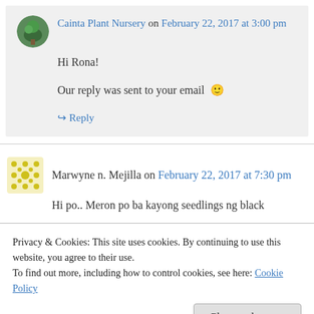Cainta Plant Nursery on February 22, 2017 at 3:00 pm
Hi Rona!
Our reply was sent to your email 🙂
↳ Reply
Marwyne n. Mejilla on February 22, 2017 at 7:30 pm
Hi po.. Meron po ba kayong seedlings ng black
Privacy & Cookies: This site uses cookies. By continuing to use this website, you agree to their use. To find out more, including how to control cookies, see here: Cookie Policy
Close and accept
Cainta Plant Nursery on February 24, 2017 at